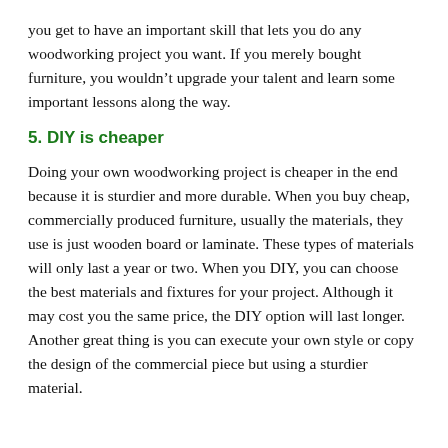you get to have an important skill that lets you do any woodworking project you want. If you merely bought furniture, you wouldn't upgrade your talent and learn some important lessons along the way.
5. DIY is cheaper
Doing your own woodworking project is cheaper in the end because it is sturdier and more durable. When you buy cheap, commercially produced furniture, usually the materials, they use is just wooden board or laminate. These types of materials will only last a year or two. When you DIY, you can choose the best materials and fixtures for your project. Although it may cost you the same price, the DIY option will last longer. Another great thing is you can execute your own style or copy the design of the commercial piece but using a sturdier material.